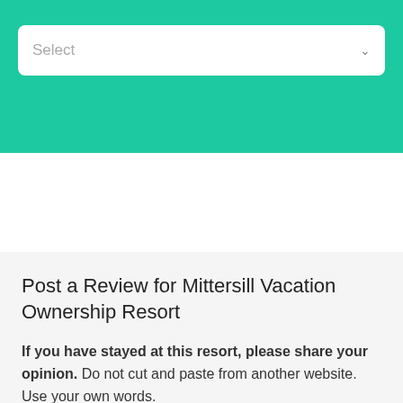[Figure (screenshot): Teal/green header bar with a white rounded dropdown select box showing placeholder text 'Select' and a chevron icon]
Post a Review for Mittersill Vacation Ownership Resort
If you have stayed at this resort, please share your opinion. Do not cut and paste from another website. Use your own words.
Name*